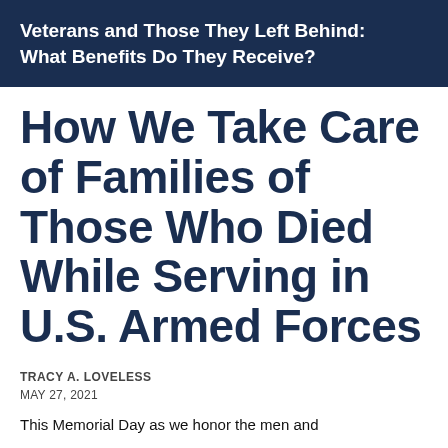Veterans and Those They Left Behind: What Benefits Do They Receive?
How We Take Care of Families of Those Who Died While Serving in U.S. Armed Forces
TRACY A. LOVELESS
MAY 27, 2021
This Memorial Day as we honor the men and